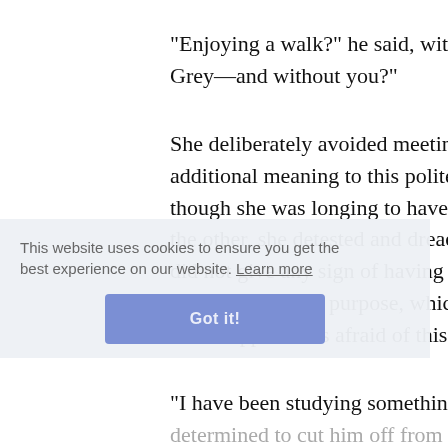"Enjoying a walk?" he said, with a grav Grey—and without you?"
She deliberately avoided meeting the additional meaning to this polite speech though she was longing to have the wh the other, she detested and dreaded the did not give any sign of having unders going on with his purpose, which he ha Mr. Sheppard was afraid of this girl, an
"I have been studying something wi determined to cut him off from his chan
"Indeed, Miss Grey? Yes—I saw that y wondered within myself what could hav
She colored a little and looked suddenly tears. His face, however, gave no expla
This website uses cookies to ensure you get the best experience on our website. Learn more
Got it!